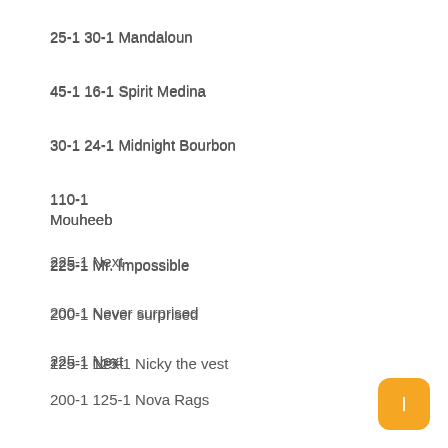25-1 30-1 Mandaloun
45-1 16-1 Spirit Medina
30-1 24-1 Midnight Bourbon
110-1
Mouheeb
225-1 Mr. Impossible
200-1 Never surprised
225-1 Next
125-1 125-1 Nicky the vest
200-1 125-1 Nova Rags
60-1 100-1 O Besos